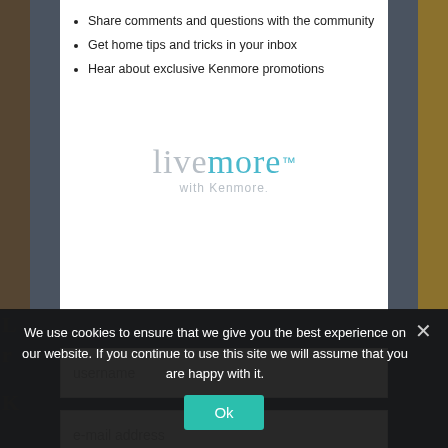Share comments and questions with the community
Get home tips and tricks in your inbox
Hear about exclusive Kenmore promotions
[Figure (logo): livemore with Kenmore logo — 'live' in grey, 'more' in teal with trademark symbol, subtitle 'with Kenmore.' in grey]
username
e-mail address
password
confirm password
zip code
We use cookies to ensure that we give you the best experience on our website. If you continue to use this site we will assume that you are happy with it.
Ok